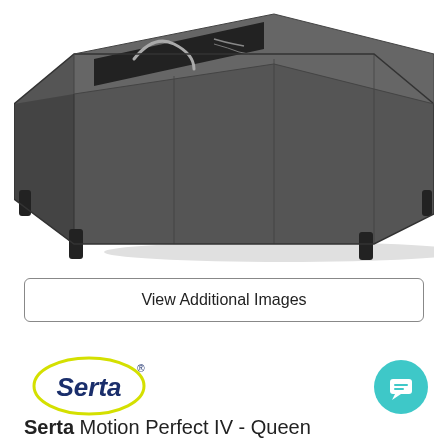[Figure (photo): Adjustable bed base/foundation photographed from an angle, dark charcoal grey upholstered frame with black legs, head section raised, showing the internal slat/wire mechanism, on a white background.]
View Additional Images
[Figure (logo): Serta logo: the word 'Serta' in dark navy bold italic font inside a yellow oval/circle outline with a registered trademark symbol.]
[Figure (illustration): Teal/cyan circular chat bubble icon button in the bottom right corner.]
Serta Motion Perfect IV - Queen